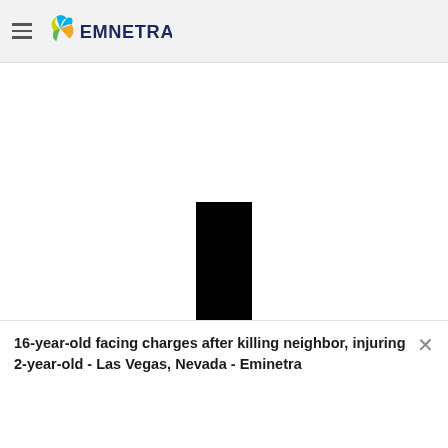EMNETRA
[Figure (photo): Large white/blank area with a black rectangular shape visible at the bottom center, representing a partially loaded or obscured image on the Emnetra news website.]
16-year-old facing charges after killing neighbor, injuring 2-year-old - Las Vegas, Nevada - Eminetra